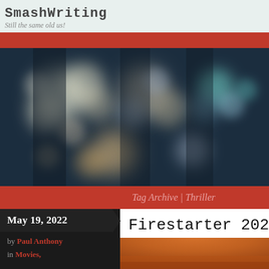SmashWriting — Still the same old us!
[Figure (photo): Blurred bokeh city lights at night — dark teal background with large soft circles of white, cream, orange, teal, and green light]
Tag Archive | Thriller
May 19, 2022
by Paul Anthony
in Movies,
Firestarter 2022
[Figure (photo): Partial view of a person with red/auburn hair, cropped at bottom of page]